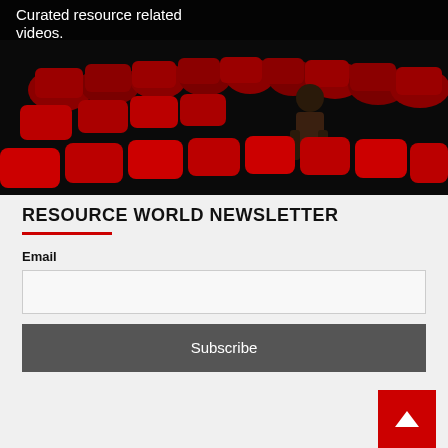Curated resource related videos.
[Figure (photo): Person sitting alone in a cinema hall with red seats, dark dramatic lighting]
RESOURCE WORLD NEWSLETTER
Email
Subscribe